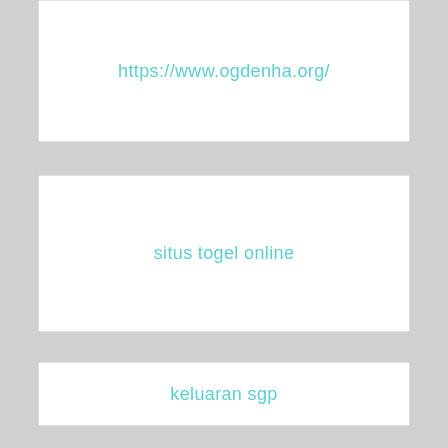https://www.ogdenha.org/
situs togel online
keluaran sgp
nexus slot gacor